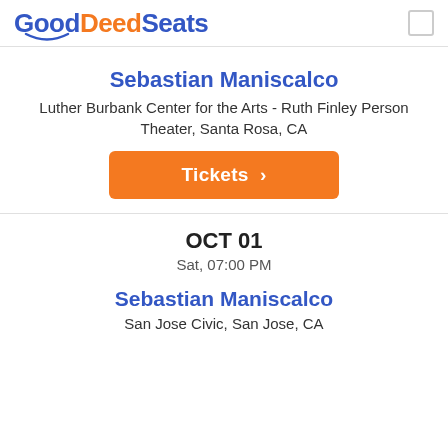GoodDeedSeats
Sebastian Maniscalco
Luther Burbank Center for the Arts - Ruth Finley Person Theater, Santa Rosa, CA
Tickets >
OCT 01
Sat, 07:00 PM
Sebastian Maniscalco
San Jose Civic, San Jose, CA